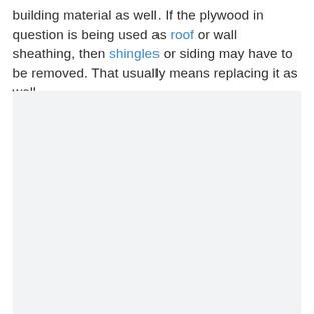building material as well. If the plywood in question is being used as roof or wall sheathing, then shingles or siding may have to be removed. That usually means replacing it as well.
[Figure (other): Light gray content area placeholder with social interaction UI buttons: a blue heart/like button, a count of 2, and a share button]